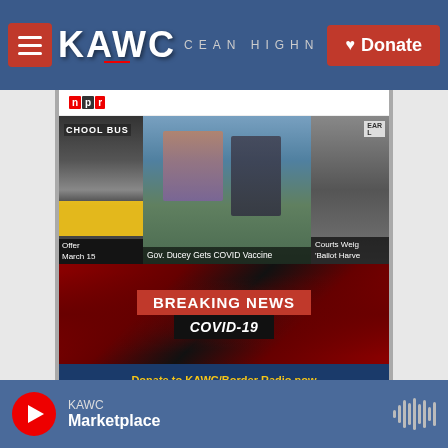[Figure (screenshot): KAWC radio station website screenshot showing header with logo, Donate button, NPR logo, news thumbnails (School Bus, Gov. Ducey Gets COVID Vaccine, Courts Weighing Ballot Harvest), Breaking News COVID-19 banner, Donate to KAWC/Border Radio strip, NPR National News section with news thumbnails, and player bar with Marketplace.]
KAWC Marketplace